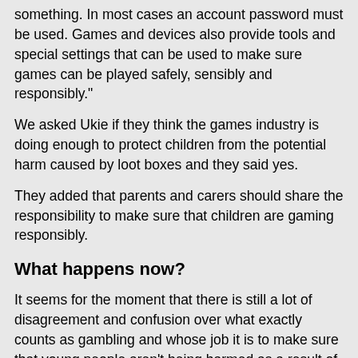something. In most cases an account password must be used. Games and devices also provide tools and special settings that can be used to make sure games can be played safely, sensibly and responsibly."
We asked Ukie if they think the games industry is doing enough to protect children from the potential harm caused by loot boxes and they said yes.
They added that parents and carers should share the responsibility to make sure that children are gaming responsibly.
What happens now?
It seems for the moment that there is still a lot of disagreement and confusion over what exactly counts as gambling and whose job it is to make sure that young people aren't being harmed as a result of gambling through gaming.